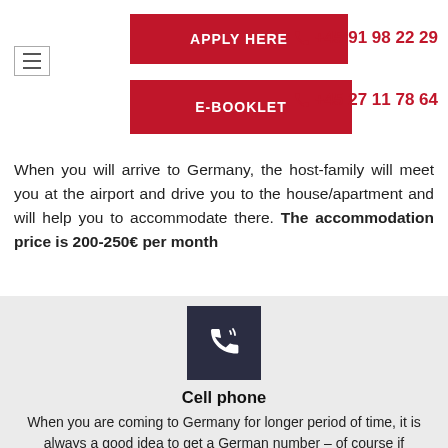APPLY HERE | E-BOOKLET | +45 91 98 22 29 | +45 27 11 78 64
When you will arrive to Germany, the host-family will meet you at the airport and drive you to the house/apartment and will help you to accommodate there. The accommodation price is 200-250€ per month
[Figure (illustration): Dark navy square icon with a white telephone/call symbol]
Cell phone
When you are coming to Germany for longer period of time, it is always a good idea to get a German number – of course if operator from your country is not offering something better. The cheapest option is Lebara operator or Mytello
[Figure (illustration): Dark navy square icon with a white bus/transit symbol]